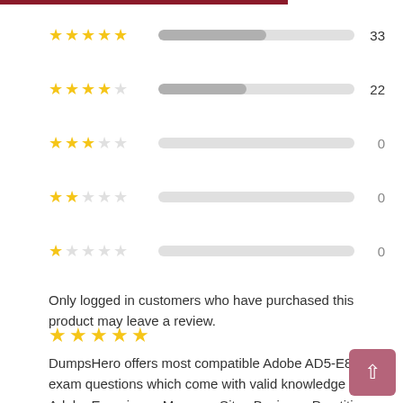[Figure (infographic): Star rating distribution showing 5 rows: 5-star=33, 4-star=22, 3-star=0, 2-star=0, 1-star=0 with horizontal bar indicators]
Only logged in customers who have purchased this product may leave a review.
[Figure (infographic): 5 filled gold stars rating]
DumpsHero offers most compatible Adobe AD5-E803 exam questions which come with valid knowledge of Adobe Experience Manager Sites Business Practitioner Expert – Upgrade.